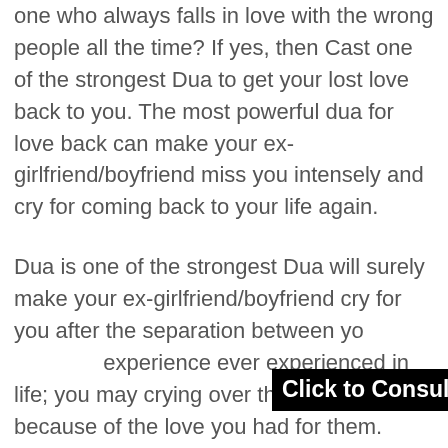one who always falls in love with the wrong people all the time? If yes, then Cast one of the strongest Dua to get your lost love back to you. The most powerful dua for love back can make your ex-girlfriend/boyfriend miss you intensely and cry for coming back to your life again.
Dua is one of the strongest Dua will surely make your ex-girlfriend/boyfriend cry for you after the separation between yo[Click to Consult on Whatsapp] experience ever experienced in life; you may crying over the whole night because of the love you had for them.
Powerful Wazifa to get lost love back
If your Break-Up breaks you down, and you want Wazifa to get lost love back, then you are at the right place. Here is Wazifa for love back in the following